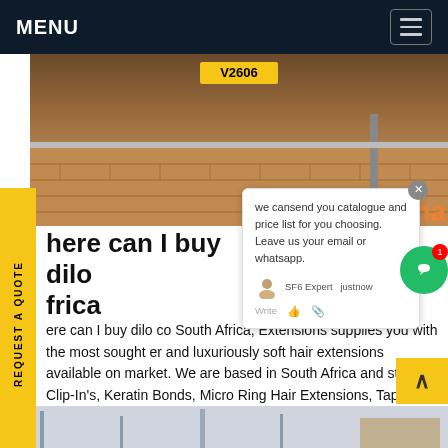MENU
[Figure (photo): Street-level photo showing brick pavement, a yellow license plate V2606, and street furniture]
we cansend you catalogue and price list for you choosing. Leave us your email or whatsapp.
here can I buy dilo co South Africa
here can I buy dilo co South Africa, Extensions supplies you with the most sought er and luxuriously soft hair extensions available on market. We are based in South Africa and stock Clip-In's, Keratin Bonds, Micro Ring Hair Extensions, Tape-In Extensions, Fashion TapesGet price
[Figure (photo): Bottom strip showing partial image of buildings/structures]